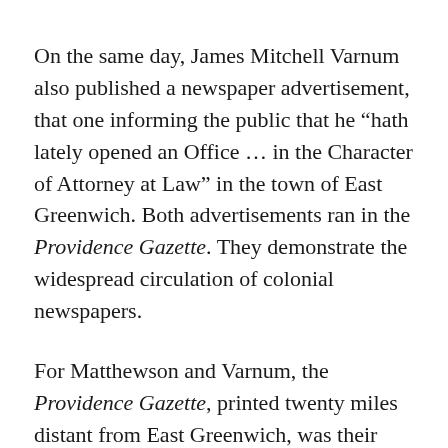On the same day, James Mitchell Varnum also published a newspaper advertisement, that one informing the public that he “hath lately opened an Office … in the Character of Attorney at Law” in the town of East Greenwich. Both advertisements ran in the Providence Gazette. They demonstrate the widespread circulation of colonial newspapers.
For Matthewson and Varnum, the Providence Gazette, printed twenty miles distant from East Greenwich, was their local newspaper. In 1769, only two newspapers were printed in Rhode Island, the Newport Mercury by Solomon Southwick and the Providence Gazette by John Carter. Each served as clearinghouses for